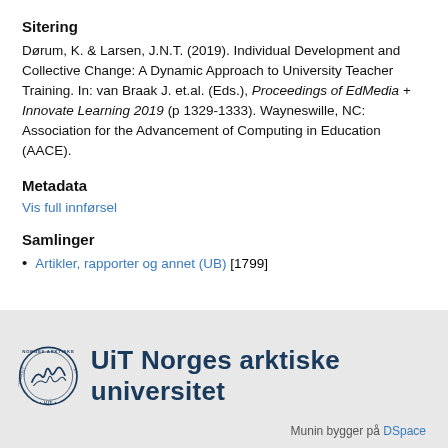Sitering
Dørum, K. & Larsen, J.N.T. (2019). Individual Development and Collective Change: A Dynamic Approach to University Teacher Training. In: van Braak J. et.al. (Eds.), Proceedings of EdMedia + Innovate Learning 2019 (p 1329-1333). Wayneswille, NC: Association for the Advancement of Computing in Education (AACE).
Metadata
Vis full innførsel
Samlinger
Artikler, rapporter og annet (UB) [1799]
[Figure (logo): UiT Norges arktiske universitet logo with circular university seal and text]
Munin bygger på DSpace